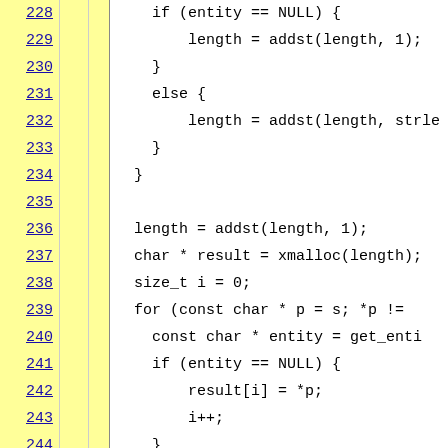[Figure (screenshot): Source code viewer showing C code lines 228-250 with line numbers in yellow sidebar and code content on white background. Code implements HTML entity replacement logic.]